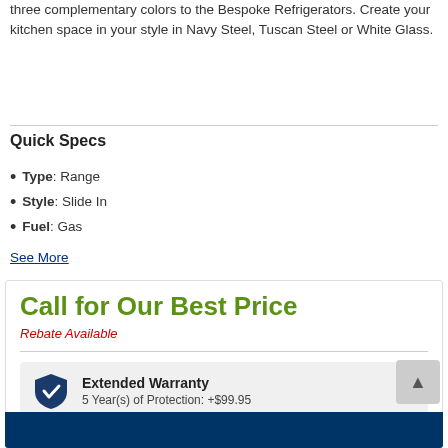three complementary colors to the Bespoke Refrigerators. Create your kitchen space in your style in Navy Steel, Tuscan Steel or White Glass.
Quick Specs
Type: Range
Style: Slide In
Fuel: Gas
See More
Call for Our Best Price
Rebate Available
See Details
Extended Warranty
5 Year(s) of Protection: +$99.95